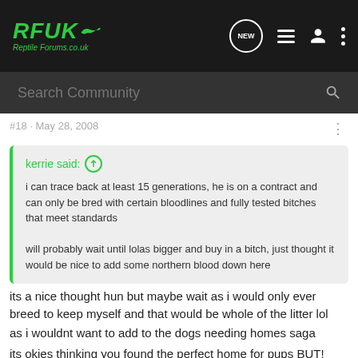RFUK Reptile Forums.co.uk
#18 · May 28, 2008
kerrie said: ↑
i can trace back at least 15 generations, he is on a contract and can only be bred with certain bloodlines and fully tested bitches that meet standards

will probably wait until lolas bigger and buy in a bitch, just thought it would be nice to add some northern blood down here
its a nice thought hun but maybe wait as i would only ever breed to keep myself and that would be whole of the litter lol
as i wouldnt want to add to the dogs needing homes saga
its okies thinking you found the perfect home for pups BUT!